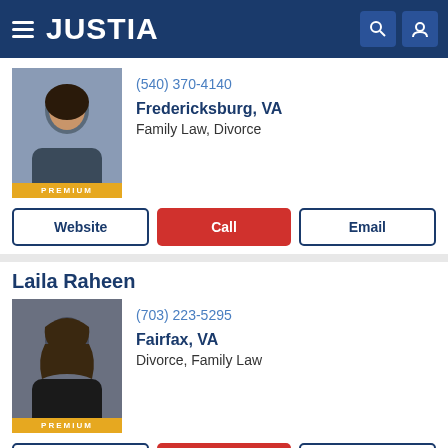JUSTIA
(540) 370-4140
Fredericksburg, VA
Family Law, Divorce
[Figure (photo): Professional headshot of a Black woman attorney with dark hair, smiling, wearing professional attire. PREMIUM badge at bottom.]
Website
Call
Email
Laila Raheen
[Figure (photo): Professional headshot of a woman with long dark hair, wearing a black blazer, smiling. PREMIUM badge at bottom.]
(703) 223-5295
Fairfax, VA
Divorce, Family Law
Website
Call
Email